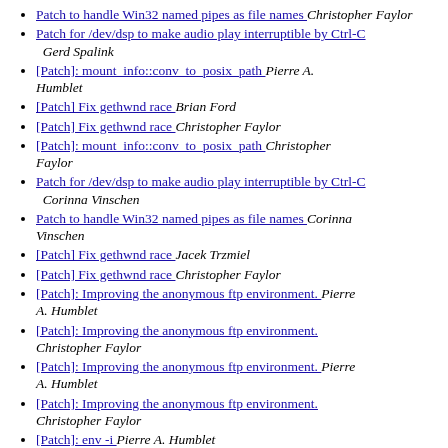Patch to handle Win32 named pipes as file names  Christopher Faylor
Patch for /dev/dsp to make audio play interruptible by Ctrl-C  Gerd Spalink
[Patch]: mount_info::conv_to_posix_path  Pierre A. Humblet
[Patch] Fix gethwnd race  Brian Ford
[Patch] Fix gethwnd race  Christopher Faylor
[Patch]: mount_info::conv_to_posix_path  Christopher Faylor
Patch for /dev/dsp to make audio play interruptible by Ctrl-C  Corinna Vinschen
Patch to handle Win32 named pipes as file names  Corinna Vinschen
[Patch] Fix gethwnd race  Jacek Trzmiel
[Patch] Fix gethwnd race  Christopher Faylor
[Patch]: Improving the anonymous ftp environment.  Pierre A. Humblet
[Patch]: Improving the anonymous ftp environment.  Christopher Faylor
[Patch]: Improving the anonymous ftp environment.  Pierre A. Humblet
[Patch]: Improving the anonymous ftp environment.  Christopher Faylor
[Patch]: env -i  Pierre A. Humblet